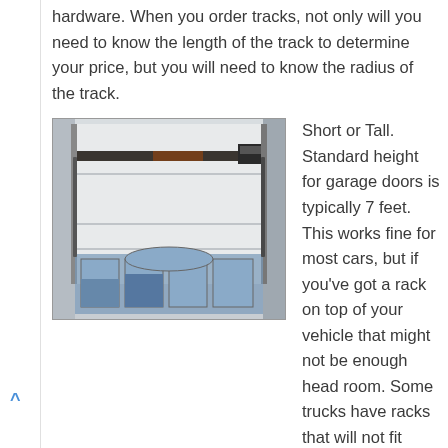hardware. When you order tracks, not only will you need to know the length of the track to determine your price, but you will need to know the radius of the track.
[Figure (photo): Interior view of a garage showing a white panel garage door partially open, with the overhead track and opener mechanism visible near the ceiling. Windows are visible at the bottom of the door opening.]
Short or Tall. Standard height for garage doors is typically 7 feet. This works fine for most cars, but if you've got a rack on top of your vehicle that might not be enough head room. Some trucks have racks that will not fit under a standard garage door. Lots of recreational vehicles won't fit.